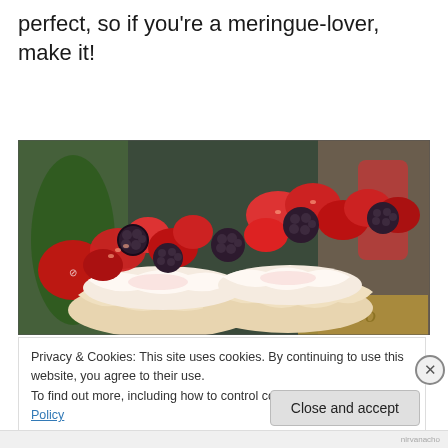perfect, so if you're a meringue-lover, make it!
[Figure (photo): Close-up photo of meringue dessert topped with strawberries and blackberries, with whipped cream, against a blurred background with green and red bottles.]
Privacy & Cookies: This site uses cookies. By continuing to use this website, you agree to their use.
To find out more, including how to control cookies, see here: Cookie Policy
Close and accept